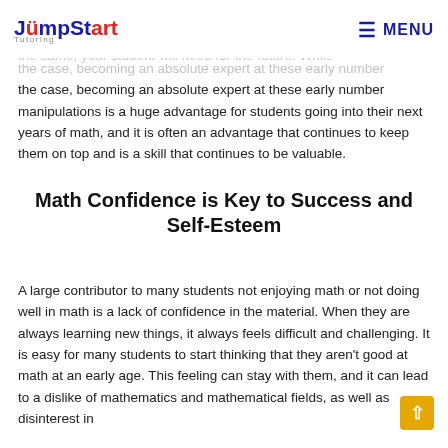JumpStart Tutoring — MENU
the case, becoming an absolute expert at these early number manipulations is a huge advantage for students going into their next years of math, and it is often an advantage that continues to keep them on top and is a skill that continues to be valuable.
Math Confidence is Key to Success and Self-Esteem
A large contributor to many students not enjoying math or not doing well in math is a lack of confidence in the material. When they are always learning new things, it always feels difficult and challenging. It is easy for many students to start thinking that they aren't good at math at an early age. This feeling can stay with them, and it can lead to a dislike of mathematics and mathematical fields, as well as disinterest in